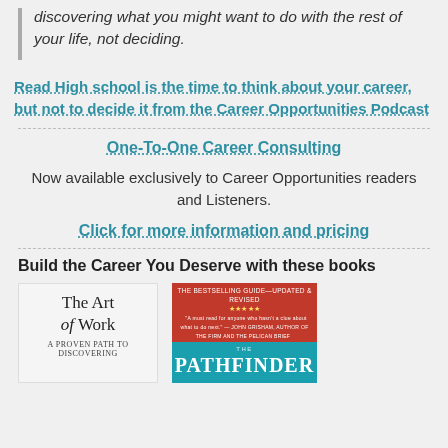discovering what you might want to do with the rest of your life, not deciding.
Read High school is the time to think about your career, but not to decide it from the Career Opportunities Podcast
One-To-One Career Consulting
Now available exclusively to Career Opportunities readers and Listeners.
Click for more information and pricing
Build the Career You Deserve with these books
[Figure (illustration): Book cover for 'The Art of Work: A Proven Path to Discovering What You Were Meant to Do']
[Figure (illustration): Book cover for 'The Pathfinder' with red banner at top and teal background]